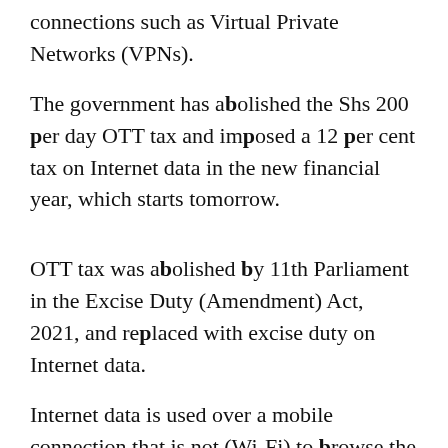connections such as Virtual Private Networks (VPNs).
The government has abolished the Shs 200 per day OTT tax and imposed a 12 per cent tax on Internet data in the new financial year, which starts tomorrow.
OTT tax was abolished by 11th Parliament in the Excise Duty (Amendment) Act, 2021, and replaced with excise duty on Internet data.
Internet data is used over a mobile connection that is not (Wi-Fi) to browse the web, check emails, play a video game, download music or use online streaming sites such as YouTube.